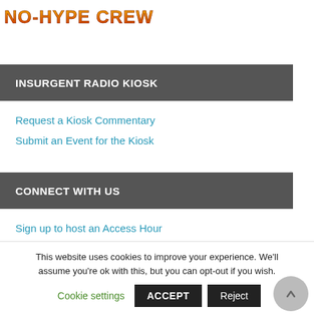[Figure (logo): No-Hype Crew logo in graffiti-style orange/red text]
INSURGENT RADIO KIOSK
Request a Kiosk Commentary
Submit an Event for the Kiosk
CONNECT WITH US
Sign up to host an Access Hour
Send us your announcements
Send us your news tips
This website uses cookies to improve your experience. We'll assume you're ok with this, but you can opt-out if you wish.
Cookie settings | ACCEPT | Reject